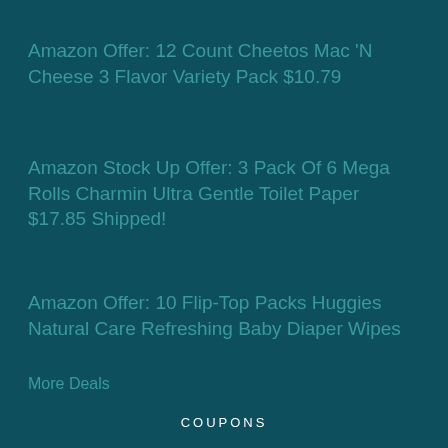Amazon Offer: 12 Count Cheetos Mac 'N Cheese 3 Flavor Variety Pack $10.79
Amazon Stock Up Offer: 3 Pack Of 6 Mega Rolls Charmin Ultra Gentle Toilet Paper $17.85 Shipped!
Amazon Offer: 10 Flip-Top Packs Huggies Natural Care Refreshing Baby Diaper Wipes
More Deals
COUPONS